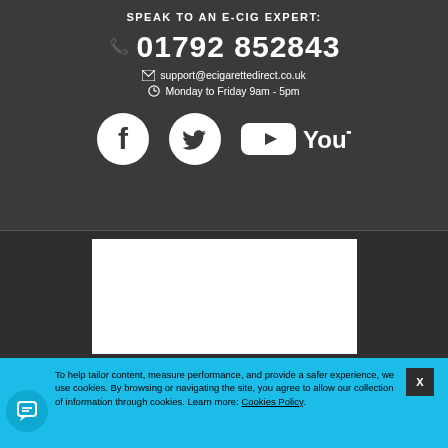SPEAK TO AN E-CIG EXPERT:
📞 01792 852843
✉ support@ecigarettedirect.co.uk
🕐 Monday to Friday 9am - 5pm
[Figure (logo): Facebook, Twitter, and YouTube social media icons in white on dark background]
[Figure (screenshot): White content box placeholder on dark background]
To help tailor content, measure performance, and provide a safer experience, we use cookies. By browsing or navigating the site, you agree to allow our collection of information through cookies. Learn more: Cookies Policy.